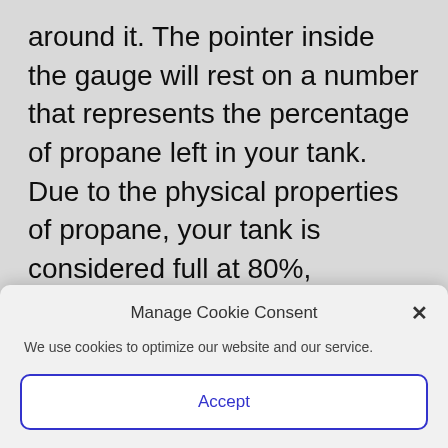around it. The pointer inside the gauge will rest on a number that represents the percentage of propane left in your tank. Due to the physical properties of propane, your tank is considered full at 80%, allowing the propane to expand inside the tank. If your tank falls below 30%, please let us know. The chart below will help you determine how many gallons of propane are in your tank at the given percentage.
Manage Cookie Consent
We use cookies to optimize our website and our service.
Accept